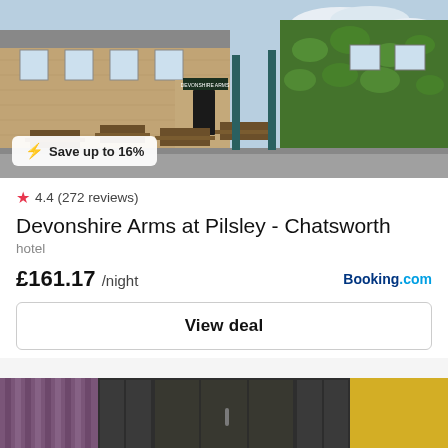[Figure (photo): Exterior photo of Devonshire Arms at Pilsley - a stone pub/hotel building with ivy-covered walls, outdoor picnic tables, and blue sky. A 'Save up to 16%' badge overlaid at bottom left.]
⚡ Save up to 16%
★ 4.4 (272 reviews)
Devonshire Arms at Pilsley - Chatsworth
hotel
£161.17 /night
Booking.com
View deal
[Figure (photo): Interior hotel room photo showing a bed with yellow accent wall, dark wooden fitted wardrobes on either side, purple/mauve vertical blinds on the left, modern overhead spotlights.]